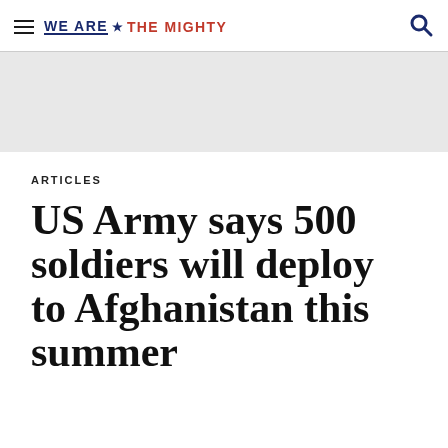WE ARE ★ THE MIGHTY
ARTICLES
US Army says 500 soldiers will deploy to Afghanistan this summer